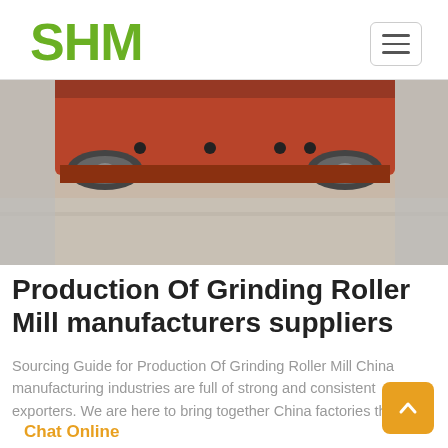SHM
[Figure (photo): Close-up photo of a red/orange industrial grinding roller mill machine viewed from below, showing metal frame and rollers on a concrete floor.]
Production Of Grinding Roller Mill manufacturers suppliers
Sourcing Guide for Production Of Grinding Roller Mill China manufacturing industries are full of strong and consistent exporters. We are here to bring together China factories th
Chat Online
[Figure (photo): Industrial mining or quarrying facility with conveyor belts, blue processing equipment, and large structures visible against a sandy background.]